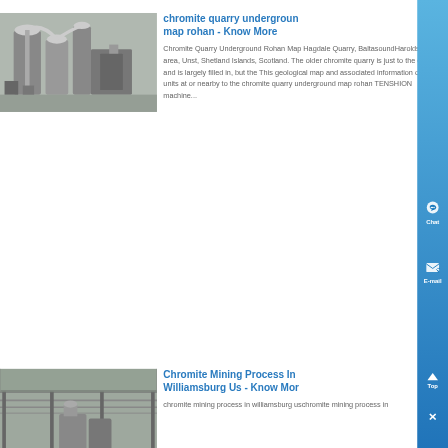chromite quarry underground map rohan - Know More
Chromite Quarry Underground Rohan Map Hagdale Quarry, BaltasoundHaroldswick area, Unst, Shetland Islands, Scotland. The older chromite quarry is just to the east and is largely filled in, but the This geological map and associated information on rock units at or nearby to the chromite quarry underground map rohan TENSHION machine...
[Figure (photo): Industrial mining/processing facility with large equipment and ductwork]
Chromite Mining Process In Williamsburg Us - Know More
chromite mining process in williamsburg uschromite mining process in
[Figure (photo): Industrial warehouse or processing facility interior with large machinery]